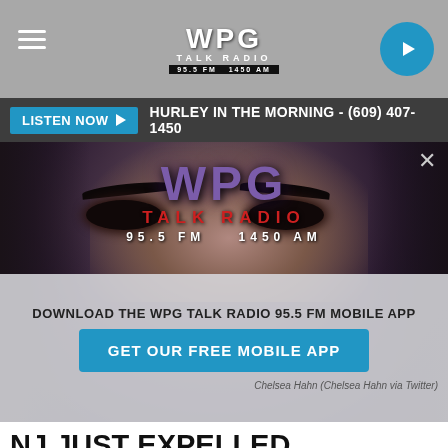WPG TALK RADIO 95.5 FM 1450 AM
LISTEN NOW ▶  HURLEY IN THE MORNING - (609) 407-1450
[Figure (screenshot): WPG Talk Radio 95.5 FM 1450 AM logo overlaid on a woman's face portrait, with a modal overlay to download the WPG Talk Radio mobile app, a 'GET OUR FREE MOBILE APP' button, and a credit line 'Chelsea Hahn (Chelsea Hahn via Twitter)']
NJ JUST EXPELLED NUMEROUS PERV TEACHERS FROM THE